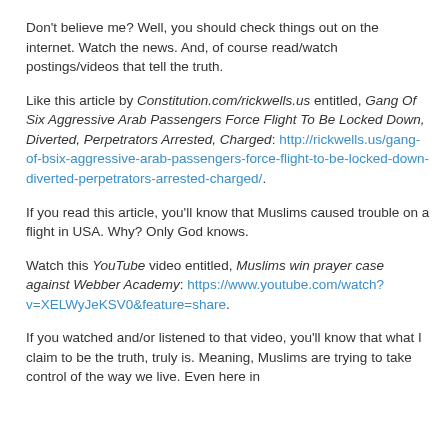Don't believe me?  Well, you should check things out on the internet.  Watch the news.  And, of course read/watch postings/videos that tell the truth.
Like this article by Constitution.com/rickwells.us entitled, Gang Of Six Aggressive Arab Passengers Force Flight To Be Locked Down, Diverted,  Perpetrators Arrested, Charged: http://rickwells.us/gang-of-bsix-aggressive-arab-passengers-force-flight-to-be-locked-down-diverted-perpetrators-arrested-charged/.
If you read this article, you'll know that Muslims caused trouble on a flight in USA.  Why?  Only God knows.
Watch this YouTube video entitled, Muslims win prayer case against Webber Academy:  https://www.youtube.com/watch?v=XELWyJeKSV0&feature=share.
If you watched and/or listened to that video, you'll know that what I claim to be the truth, truly is.  Meaning, Muslims are trying to take control of the way we live.  Even here in